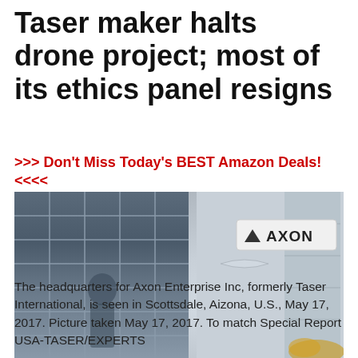Taser maker halts drone project; most of its ethics panel resigns
>>> Don't Miss Today's BEST Amazon Deals!<<<<
[Figure (photo): The headquarters building of Axon Enterprise Inc (formerly Taser International) in Scottsdale, Arizona. Shows a glass-facade building on the left and a modern white building with the AXON logo sign on the right.]
The headquarters for Axon Enterprise Inc, formerly Taser International, is seen in Scottsdale, Aizona, U.S., May 17, 2017. Picture taken May 17, 2017. To match Special Report USA-TASER/EXPERTS